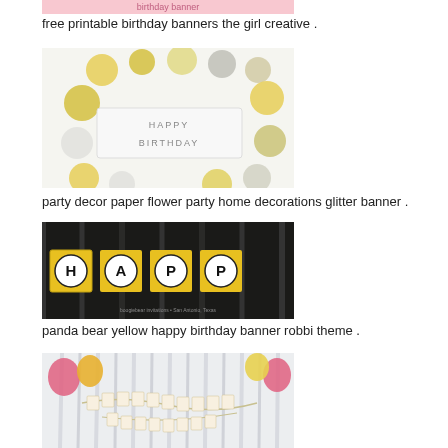[Figure (photo): Pink birthday banner - free printable, partially visible at top]
free printable birthday banners the girl creative .
[Figure (photo): Happy Birthday banner with yellow, white and grey paper flowers and balloons arranged in a circle]
party decor paper flower party home decorations glitter banner .
[Figure (photo): Panda bear yellow happy birthday banner with yellow and black polka dot letter cards hanging from ceiling]
panda bear yellow happy birthday banner robbi theme .
[Figure (photo): Happy birthday banner with pink and yellow balloons hanging on white curtain backdrop]